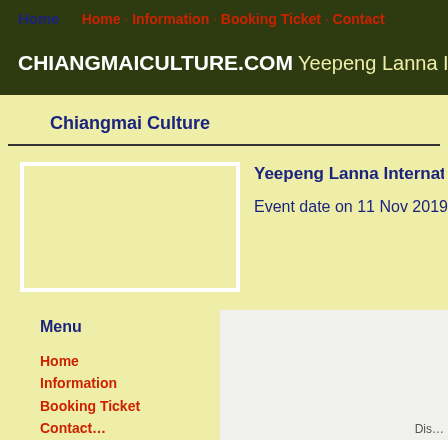Home | Home · Information · Booking Ticket · Contact
CHIANGMAICULTURE.COM Yeepeng Lanna Internationa…
Chiangmai Culture
[Figure (other): Empty/placeholder image box with white border on yellow background]
Yeepeng Lanna Internationa…
Event date on 11 Nov 2019
Menu
Home
Information
Booking Ticket
Contact…